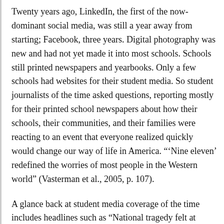Twenty years ago, LinkedIn, the first of the now-dominant social media, was still a year away from starting; Facebook, three years. Digital photography was new and had not yet made it into most schools. Schools still printed newspapers and yearbooks. Only a few schools had websites for their student media. So student journalists of the time asked questions, reporting mostly for their printed school newspapers about how their schools, their communities, and their families were reacting to an event that everyone realized quickly would change our way of life in America. “‘Nine eleven’ redefined the worries of most people in the Western world” (Vasterman et al., 2005, p. 107).
A glance back at student media coverage of the time includes headlines such as “National tragedy felt at AHS,” “Terrorist attacks strike close to home,” “Emotional day: Students watch as terrorists attack East Coast,” and “Muslim students concerned after attack.”